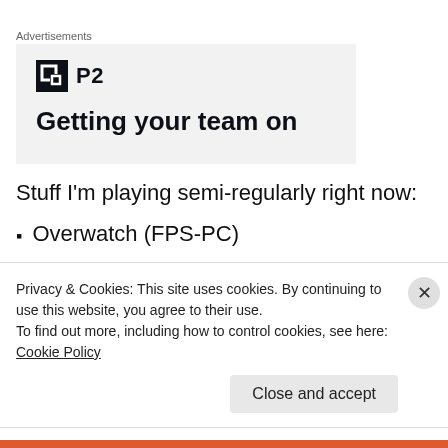Advertisements
[Figure (illustration): Advertisement banner for P2 product showing a square logo icon and partial tagline text 'Getting your team on...']
Stuff I'm playing semi-regularly right now:
Overwatch (FPS-PC)
Privacy & Cookies: This site uses cookies. By continuing to use this website, you agree to their use.
To find out more, including how to control cookies, see here: Cookie Policy